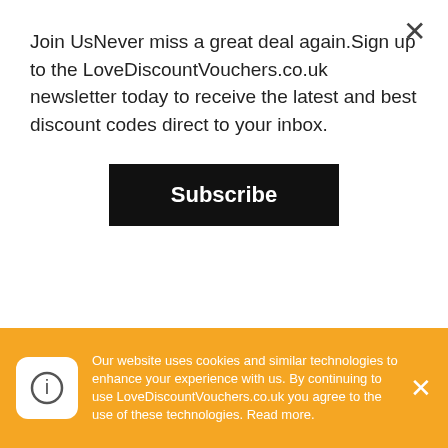Join UsNever miss a great deal again.Sign up to the LoveDiscountVouchers.co.uk newsletter today to receive the latest and best discount codes direct to your inbox.
Subscribe
during business hours and they will be happy to assist you.
09:00 hrs -17:00 hrs (GMT)
Closed Saturday & Sunday
Closed U.K. Bank Holidays
Customer service sets Beauty Works apart from other similar online retailers. Customer
Our website uses cookies and similar technologies to enhance your experience with us. By continuing to use LoveDiscountVouchers.co.uk you agree to the use of these technologies. Read more.